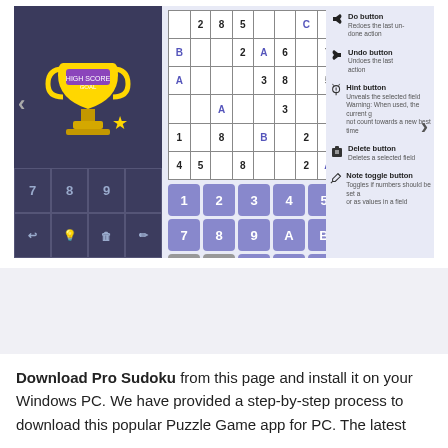[Figure (screenshot): Screenshot of Pro Sudoku app showing a sudoku game with trophy/winner screen on the left, sudoku grid in the middle, number pad with 1-9 and A-C buttons, and button descriptions for Do, Undo, Hint, Delete, and Note toggle on the right panel]
Download Pro Sudoku from this page and install it on your Windows PC. We have provided a step-by-step process to download this popular Puzzle Game app for PC. The latest